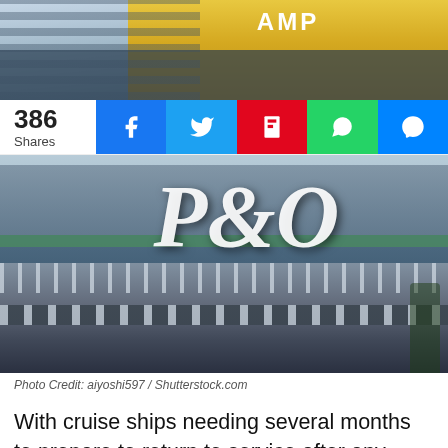[Figure (photo): Top portion of a building with AMP signage visible, city skyline]
386 Shares
[Figure (photo): P&O cruise ship docked at a port with city buildings in background]
Photo Credit: aiyoshi597 / Shutterstock.com
With cruise ships needing several months to prepare to return to service after any green light, it's a significant blow to the industry and for those guests waiting to go cruising once again.
Myrmell continued to say: "After a long...